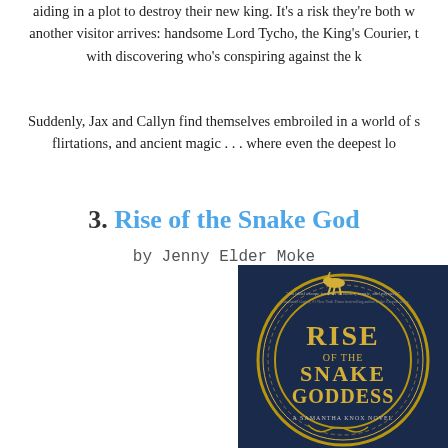aiding in a plot to destroy their new king. It's a risk they're both w... another visitor arrives: handsome Lord Tycho, the King's Courier, t... with discovering who's conspiring against the k...
Suddenly, Jax and Callyn find themselves embroiled in a world of s... flirtations, and ancient magic . . . where even the deepest lo...
3. Rise of the Snake God...
by Jenny Elder Moke
[Figure (photo): Book cover of 'Rise of the Snake Goddess: A Samantha Knox Novel' showing a dark blue fantasy cover with ornate gold lettering and decorative circular border with a horse figure at top.]